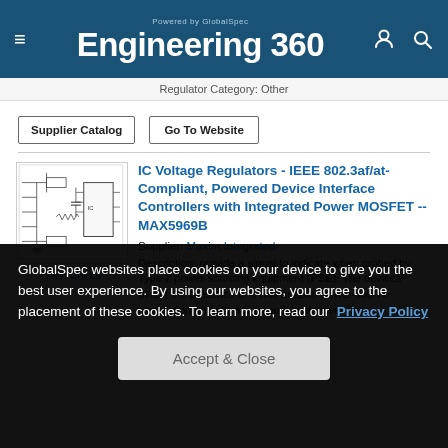Engineering 360 — Powered by GlobalSpec
Regulator Category: Other
Supplier Catalog | Go To Website
IC Voltage Regulators - IEEE 802.3af/at-Compliant, Powered Device Interface Controllers with Integrated Power MOSFET -- MAX5969B
Supplier: Maxim Integrated
Description: provide a signal to indicate when probed by Type 2 power-sourcing equipment (PSE). The devices detect the presence of a wall adapter power-source connection and allow a smooth switchover from
[Figure (engineering-diagram): Circuit schematic diagram for IC voltage regulator component]
View Specs
GlobalSpec websites place cookies on your device to give you the best user experience. By using our websites, you agree to the placement of these cookies. To learn more, read our Privacy Policy
Accept & Close